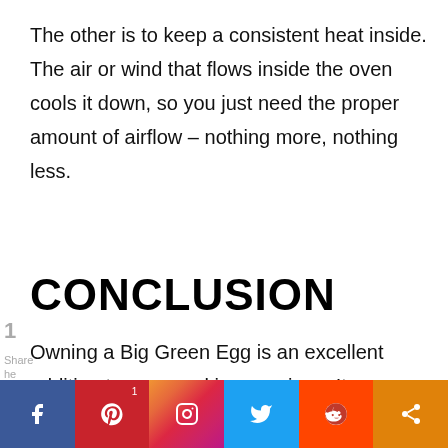The other is to keep a consistent heat inside. The air or wind that flows inside the oven cools it down, so you just need the proper amount of airflow – nothing more, nothing less.
CONCLUSION
Owning a Big Green Egg is an excellent addition to your cooking sessions. It can he…